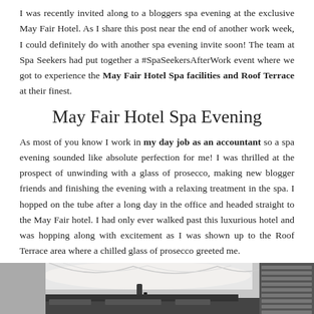I was recently invited along to a bloggers spa evening at the exclusive May Fair Hotel. As I share this post near the end of another work week, I could definitely do with another spa evening invite soon! The team at Spa Seekers had put together a #SpaSeekersAfterWork event where we got to experience the May Fair Hotel Spa facilities and Roof Terrace at their finest.
May Fair Hotel Spa Evening
As most of you know I work in my day job as an accountant so a spa evening sounded like absolute perfection for me! I was thrilled at the prospect of unwinding with a glass of prosecco, making new blogger friends and finishing the evening with a relaxing treatment in the spa. I hopped on the tube after a long day in the office and headed straight to the May Fair hotel. I had only ever walked past this luxurious hotel and was hopping along with excitement as I was shown up to the Roof Terrace area where a chilled glass of prosecco greeted me.
[Figure (photo): Partial photo of the May Fair Hotel Spa / Roof Terrace area, showing a canopied ceiling and louvred panels, cropped at the bottom of the page.]